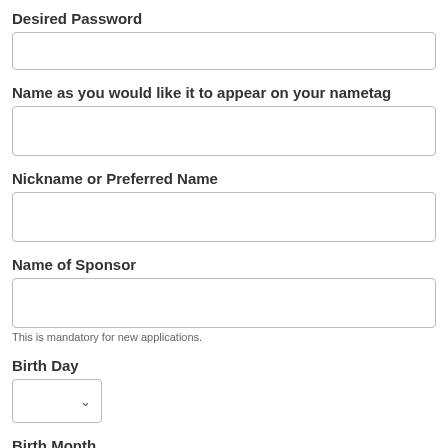Desired Password
[text input field]
Name as you would like it to appear on your nametag
[text input field]
Nickname or Preferred Name
[text input field]
Name of Sponsor
[text input field]
This is mandatory for new applications.
Birth Day
[dropdown select]
Birth Month
[dropdown select]